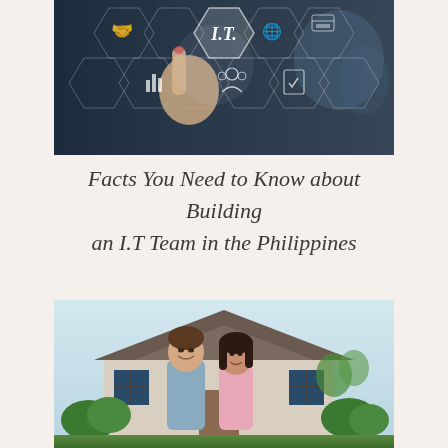[Figure (photo): A person pointing at a glowing I.T. touchscreen interface with various icons including handshake, globe, people, chart, and document icons arranged in a hexagonal pattern. Dark blue/grey technology themed background.]
Facts You Need to Know about Building an I.T Team in the Philippines
[Figure (photo): A smiling couple — a man in a light blue shirt and a woman — standing in front of a suburban house with green landscaping.]